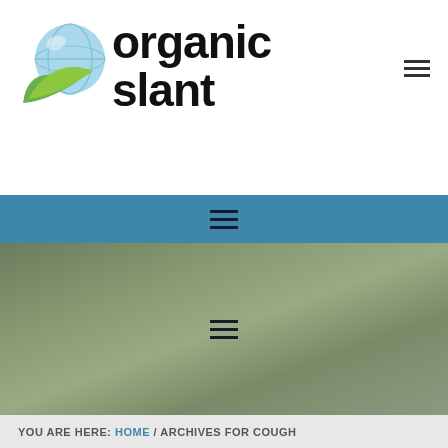[Figure (logo): Organic Slant logo with globe and green leaf icon on the left, and bold black text 'organic slant' on the right with a small menu icon]
[Figure (screenshot): Blue navigation bar with hamburger menu icon centered]
[Figure (photo): Olive/sage green gradient hero banner area with hamburger menu icon centered]
YOU ARE HERE: HOME / ARCHIVES FOR COUGH